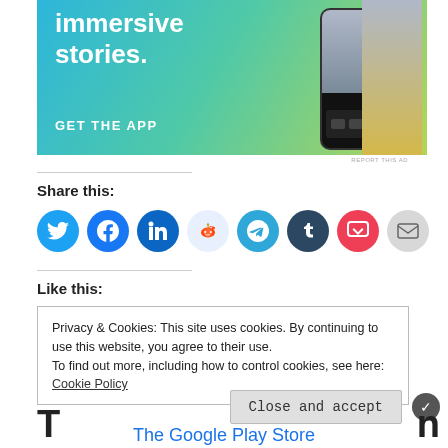[Figure (screenshot): App advertisement banner with gradient blue-green background showing text 'immersive stories.' and 'GET THE APP' with a phone mockup on the right showing a waterfall/outdoor scene]
REPORT THIS AD
Share this:
[Figure (infographic): Row of social media share icons: Twitter (blue), Facebook (blue), LinkedIn (blue), Reddit (light blue), Telegram (blue), Tumblr (dark navy), Pocket (red), Email (grey)]
Like this:
Privacy & Cookies: This site uses cookies. By continuing to use this website, you agree to their use.
To find out more, including how to control cookies, see here:
Cookie Policy
Close and accept
T
n
The Google Play Store